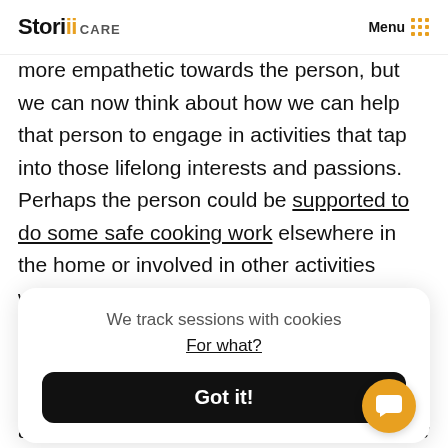Storii CARE   Menu
more empathetic towards the person, but we can now think about how we can help that person to engage in activities that tap into those lifelong interests and passions. Perhaps the person could be supported to do some safe cooking work elsewhere in the home or involved in other activities which allow her to provide for others. In other words, the life story work process not only means a collection of
We track sessions with cookies
For what?
Got it!
and memories so that they can be stored, reviewed